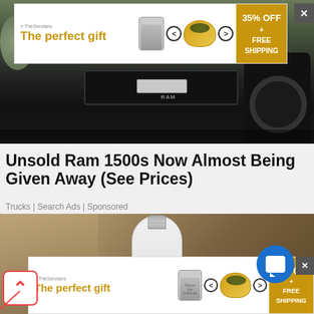[Figure (photo): Advertisement banner at top: 'The perfect gift' with cookware images and '35% OFF + FREE SHIPPING' offer]
[Figure (photo): Photo of a Ram 1500 truck front end showing grill, license plate area and large off-road tire]
Unsold Ram 1500s Now Almost Being Given Away (See Prices)
Trucks | Search Ads | Sponsored
[Figure (photo): Hand holding a white bulb-shaped security camera device with lens at bottom]
[Figure (photo): Bottom advertisement banner: 'The perfect gift' with cookware images and '35% OFF + FREE SHIPPING']